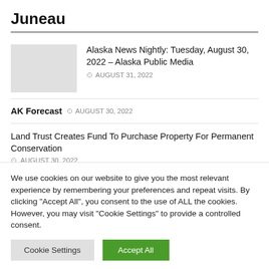Juneau
Alaska News Nightly: Tuesday, August 30, 2022 – Alaska Public Media  AUGUST 31, 2022
AK Forecast  AUGUST 30, 2022
Land Trust Creates Fund To Purchase Property For Permanent Conservation  AUGUST 30, 2022
We use cookies on our website to give you the most relevant experience by remembering your preferences and repeat visits. By clicking "Accept All", you consent to the use of ALL the cookies. However, you may visit "Cookie Settings" to provide a controlled consent.